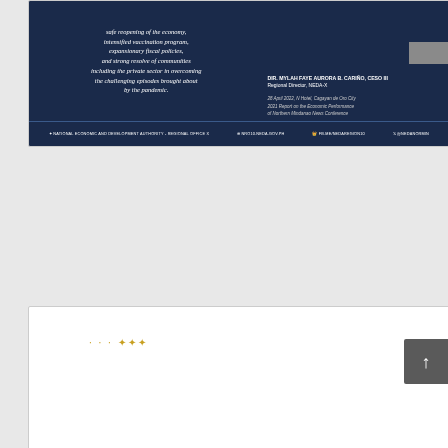[Figure (infographic): NEDA Regional Office X dark blue banner with italic quote about safe reopening of the economy, intensified vaccination program, expansionary fiscal policies, and strong resolve of communities including the private sector in overcoming the challenging episodes brought about by the pandemic. Attribution to DIR. MYLAH FAYE AURORA B. CARIÑO, CESO III, Regional Director, NEDA-X. Event: 28 April 2022, N Hotel, Cagayan de Oro City, 2021 Report on the Economic Performance of Northern Mindanao News Conference. Footer with NEDA contact details.]
[Figure (other): Empty white card with small golden loading/ellipsis dots indicator in upper left area.]
[Figure (infographic): Northern Mindanao Quick Stat card header showing bold blue title text and NEDA circular seal logo on right side.]